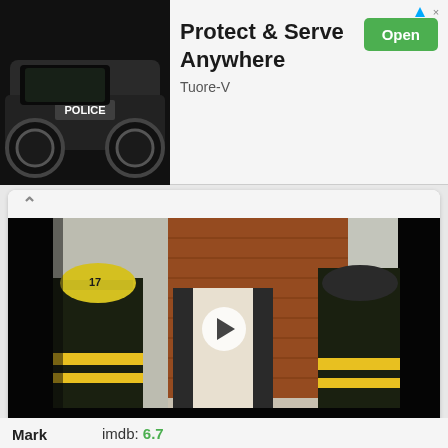[Figure (screenshot): Advertisement banner for 'Protect & Serve Anywhere' by Tuore-V. Left side shows a black police vehicle toy. Right side shows ad title text, 'Open' button in green, and 'Tuore-V' subtitle. Triangular ad icon and close X in top right.]
[Figure (screenshot): Movie scene thumbnail showing firefighters in black and yellow gear standing in front of a brick building. A man in civilian clothes is in the center. A play button overlay is in the center of the image.]
Mark
imdb: 6.7
Genre
action, thriller, drama, crime, detective
Country
USA, Belgium